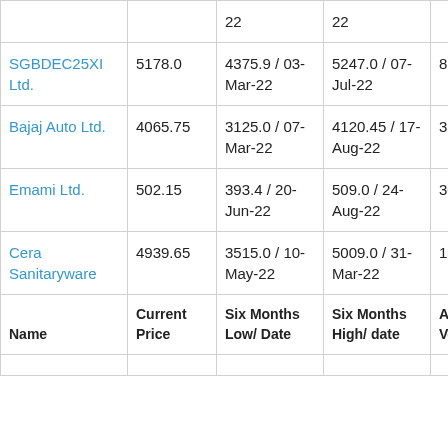| Name | Current Price | Six Months Low/ Date | Six Months High/ date | Average Volume (K) |
| --- | --- | --- | --- | --- |
|  |  | 22 | 22 |  |
| SGBDEC25XI Ltd. | 5178.0 | 4375.9 / 03-Mar-22 | 5247.0 / 07-Jul-22 | 8 |
| Bajaj Auto Ltd. | 4065.75 | 3125.0 / 07-Mar-22 | 4120.45 / 17-Aug-22 | 350 K |
| Emami Ltd. | 502.15 | 393.4 / 20-Jun-22 | 509.0 / 24-Aug-22 | 307 K |
| Cera Sanitaryware | 4939.65 | 3515.0 / 10-May-22 | 5009.0 / 31-Mar-22 | 18795 |
| Name | Current Price | Six Months Low/ Date | Six Months High/ date | Average Volume (K) |
|  |  |  |  |  |